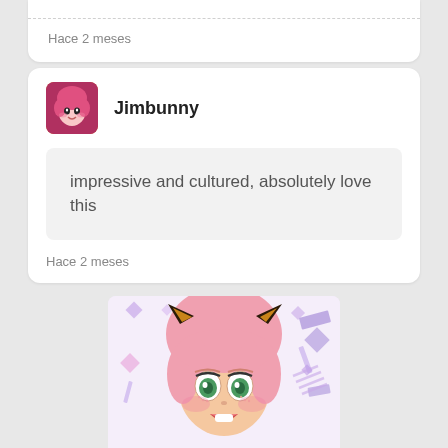Hace 2 meses
Jimbunny
impressive and cultured, absolutely love this
Hace 2 meses
[Figure (photo): Anime figurine with pink hair, cat ears with gold trim, green eyes, and an open smile, against a purple geometric background]